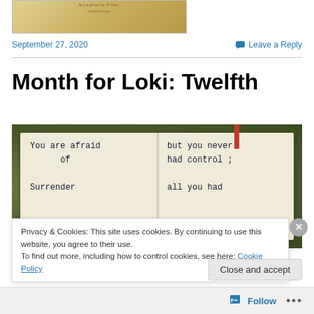[Figure (photo): Partial view of a book or blog post thumbnail image with golden/yellow tones]
September 27, 2020
Leave a Reply
Month for Loki: Twelfth
[Figure (photo): Open notebook on a mossy/grassy background with handwritten text: 'You are afraid of Surrender but you never had control; all you had']
Privacy & Cookies: This site uses cookies. By continuing to use this website, you agree to their use.
To find out more, including how to control cookies, see here: Cookie Policy
Close and accept
Follow